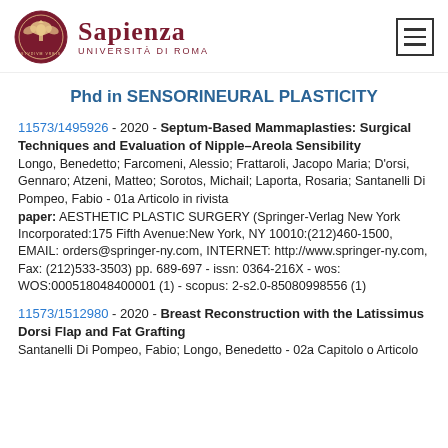Sapienza Università di Roma
Phd in SENSORINEURAL PLASTICITY
11573/1495926 - 2020 - Septum-Based Mammaplasties: Surgical Techniques and Evaluation of Nipple–Areola Sensibility
Longo, Benedetto; Farcomeni, Alessio; Frattaroli, Jacopo Maria; D'orsi, Gennaro; Atzeni, Matteo; Sorotos, Michail; Laporta, Rosaria; Santanelli Di Pompeo, Fabio - 01a Articolo in rivista
paper: AESTHETIC PLASTIC SURGERY (Springer-Verlag New York Incorporated:175 Fifth Avenue:New York, NY 10010:(212)460-1500, EMAIL: orders@springer-ny.com, INTERNET: http://www.springer-ny.com, Fax: (212)533-3503) pp. 689-697 - issn: 0364-216X - wos: WOS:000518048400001 (1) - scopus: 2-s2.0-85080998556 (1)
11573/1512980 - 2020 - Breast Reconstruction with the Latissimus Dorsi Flap and Fat Grafting
Santanelli Di Pompeo, Fabio; Longo, Benedetto - 02a Capitolo o Articolo